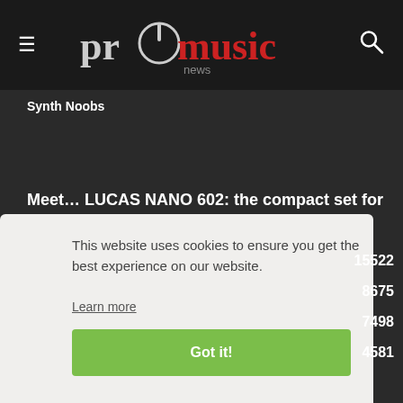promusic news
Synth Noobs
Meet… LUCAS NANO 602: the compact set for a vast audience!
This website uses cookies to ensure you get the best experience on our website. Learn more
Got it!
15522 8675 7498 4581